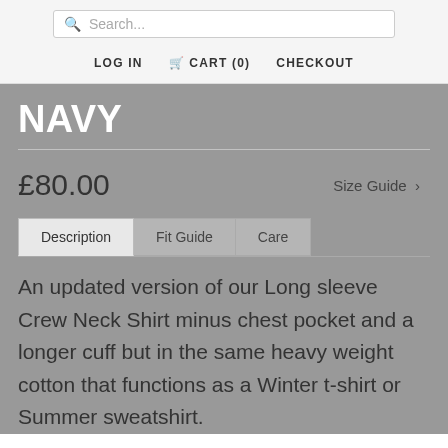Search...
LOG IN   CART (0)   CHECKOUT
NAVY
£80.00   Size Guide ›
Description   Fit Guide   Care
An updated version of our Long sleeve Crew Neck Shirt minus chest pocket and a longer cuff but in the same heavy weight cotton that functions as a Winter t-shirt or Summer sweatshirt.